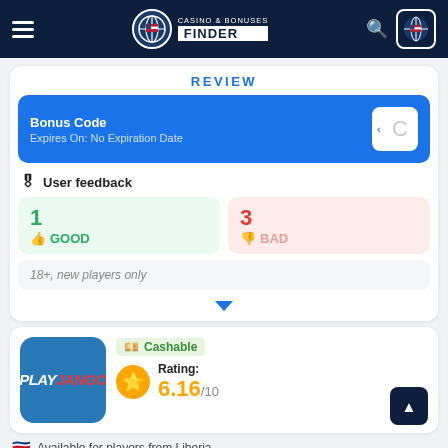Casino & Bonuses Finder — navigation bar
REVIEW
Bonus Code — Expires On: No Expiration Date
User feedback
1 GOOD
3 BAD
18+, new players only
[Figure (other): Dropdown toggle arrow]
[Figure (logo): PlayJango casino logo — blue square with PLAYJANGO text]
Cashable
Rating: 6.16/10
Available for players from Liberia